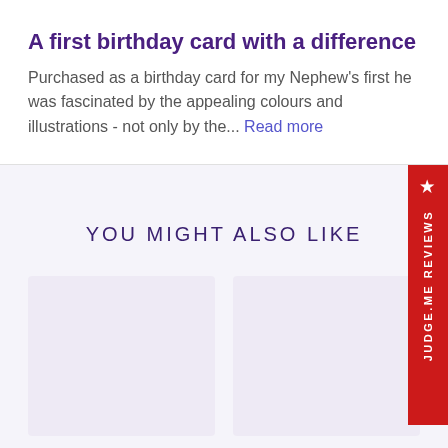A first birthday card with a difference
Purchased as a birthday card for my Nephew's first he was fascinated by the appealing colours and illustrations - not only by the... Read more
YOU MIGHT ALSO LIKE
[Figure (other): Two product card placeholders with light purple/lavender background]
[Figure (other): Judge.me Reviews red vertical badge on right side with star icon and text 'JUDGE.ME REVIEWS' written vertically]